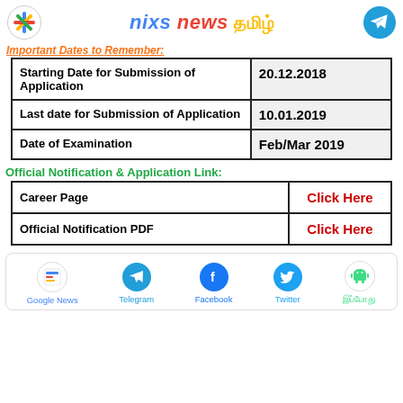nixs news தமிழ்
Important Dates to Remember:
| Starting Date for Submission of Application | 20.12.2018 |
| Last date for Submission of Application | 10.01.2019 |
| Date of Examination | Feb/Mar 2019 |
Official Notification & Application Link:
| Career Page | Click Here |
| Official Notification PDF | Click Here |
[Figure (infographic): Social media bar with icons: Google News, Telegram, Facebook, Twitter, and an Android app icon with Tamil text label]